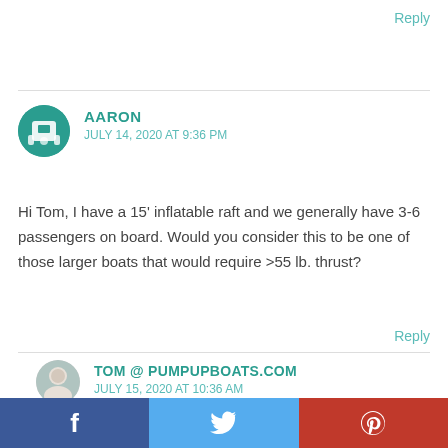Reply
AARON
JULY 14, 2020 AT 9:36 PM
Hi Tom, I have a 15' inflatable raft and we generally have 3-6 passengers on board. Would you consider this to be one of those larger boats that would require >55 lb. thrust?
Reply
TOM @ PUMPUPBOATS.COM
JULY 15, 2020 AT 10:36 AM
[Figure (other): Advertisement: Waterjet Control System - Advanced & Compact System with an image of waterjet machinery]
[Figure (other): Social media share bar with Facebook, Twitter, and Pinterest buttons]